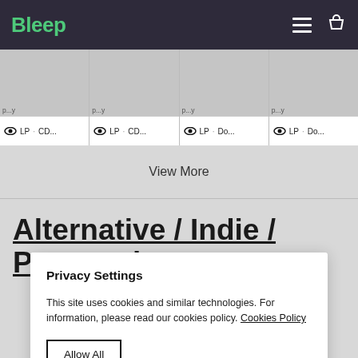Bleep
[Figure (screenshot): Four product cards each showing LP · CD... or LP · Do... format options with eye icon]
View More
Alternative / Indie / Post-rock
Privacy Settings
This site uses cookies and similar technologies. For information, please read our cookies policy. Cookies Policy
Allow All
Manage Consent Preferences